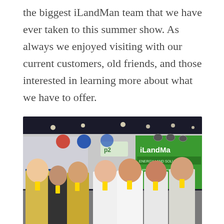the biggest iLandMan team that we have ever taken to this summer show. As always we enjoyed visiting with our current customers, old friends, and those interested in learning more about what we have to offer.
[Figure (photo): Group photo of iLandMan team members standing in front of a green iLandMan branded booth/banner at a trade show. Seven people visible, some wearing yellow lanyards. P2 signage visible in background.]
[Figure (photo): Partial view of the iLandMan trade show booth with green branded banner showing iLandMan logo, additional team members visible at bottom of frame.]